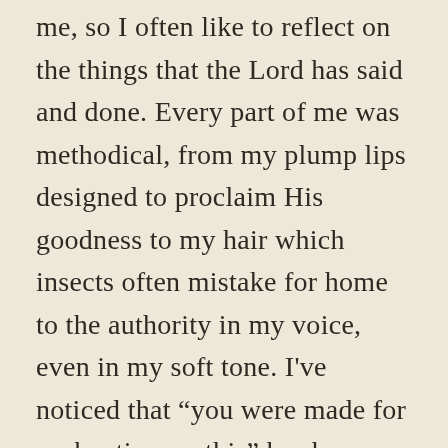me, so I often like to reflect on the things that the Lord has said and done. Every part of me was methodical, from my plump lips designed to proclaim His goodness to my hair which insects often mistake for home to the authority in my voice, even in my soft tone. I've noticed that “you were made for such a time as this” has become especially popular since the start of this COVID-19 pandemic and I’d like Black people to consider drawing strength from that Scripture (Esther 4:14). While Mordecai